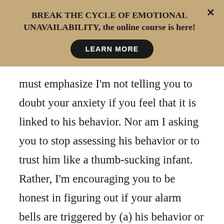[Figure (infographic): Gold/tan banner with bold text: BREAK THE CYCLE OF EMOTIONAL UNAVAILABILITY, the online course is here! with a black LEARN MORE button and an X close button]
must emphasize I'm not telling you to doubt your anxiety if you feel that it is linked to his behavior. Nor am I asking you to stop assessing his behavior or to trust him like a thumb-sucking infant. Rather, I'm encouraging you to be honest in figuring out if your alarm bells are triggered by (a) his behavior or (b) your ow